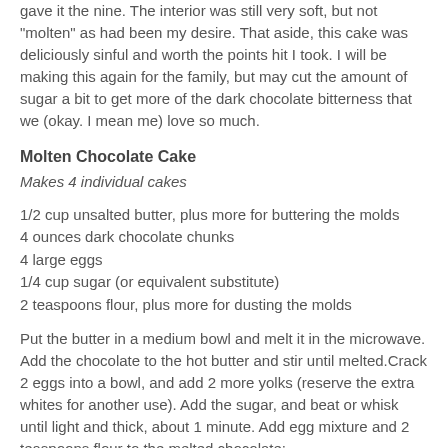gave it the nine. The interior was still very soft, but not "molten" as had been my desire. That aside, this cake was deliciously sinful and worth the points hit I took. I will be making this again for the family, but may cut the amount of sugar a bit to get more of the dark chocolate bitterness that we (okay. I mean me) love so much.
Molten Chocolate Cake
Makes 4 individual cakes
1/2 cup unsalted butter, plus more for buttering the molds
4 ounces dark chocolate chunks
4 large eggs
1/4 cup sugar (or equivalent substitute)
2 teaspoons flour, plus more for dusting the molds
Put the butter in a medium bowl and melt it in the microwave. Add the chocolate to the hot butter and stir until melted.Crack 2 eggs into a bowl, and add 2 more yolks (reserve the extra whites for another use). Add the sugar, and beat or whisk until light and thick, about 1 minute. Add egg mixture and 2 teaspoons flour to the melted chocolate;